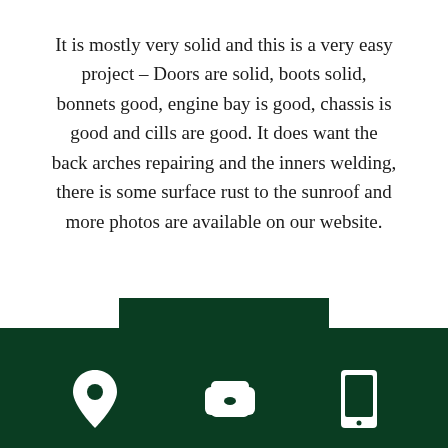It is mostly very solid and this is a very easy project – Doors are solid, boots solid, bonnets good, engine bay is good, chassis is good and cills are good. It does want the back arches repairing and the inners welding, there is some surface rust to the sunroof and more photos are available on our website.
[Figure (other): Dark green footer bar with a small tab above it, containing three white icons: a location pin, a telephone, and a mobile phone.]